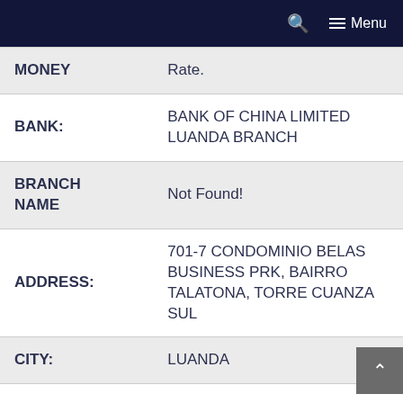Menu
| Field | Value |
| --- | --- |
| MONEY | Rate. |
| BANK: | BANK OF CHINA LIMITED LUANDA BRANCH |
| BRANCH NAME | Not Found! |
| ADDRESS: | 701-7 CONDOMINIO BELAS BUSINESS PRK, BAIRRO TALATONA, TORRE CUANZA SUL |
| CITY: | LUANDA |